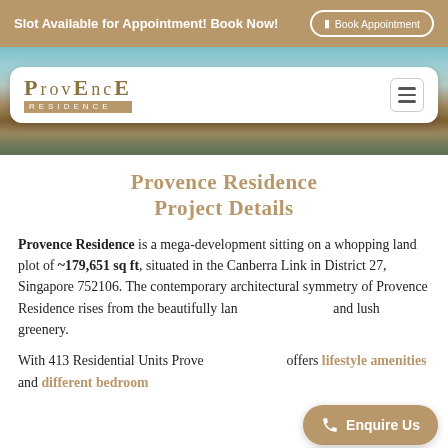Slot Available for Appointment! Book Now!
[Figure (screenshot): Provence Residence website header with navigation bar showing logo and hamburger menu, over a pool/deck background photo]
Provence Residence Project Details
Provence Residence is a mega-development sitting on a whopping land plot of ~179,651 sq ft, situated in the Canberra Link in District 27, Singapore 752106. The contemporary architectural symmetry of Provence Residence rises from the beautifully landscaped grounds and lush greenery.
With 413 Residential Units Provence Residence offers lifestyle amenities and different bedroom sizes to choose from.